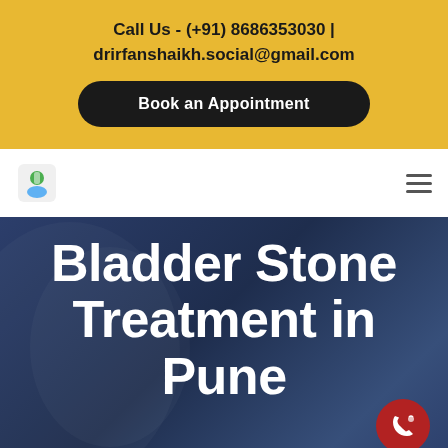Call Us - (+91) 8686353030 | drirfanshaikh.social@gmail.com
Book an Appointment
[Figure (logo): Medical clinic logo small icon]
Bladder Stone Treatment in Pune